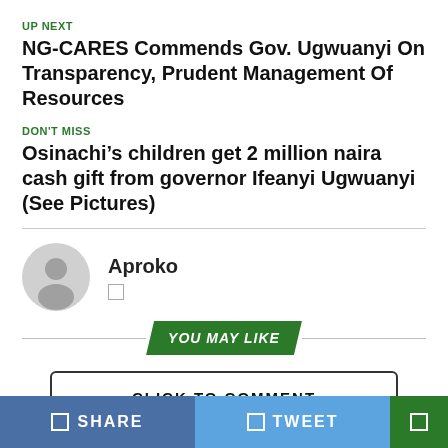UP NEXT
NG-CARES Commends Gov. Ugwuanyi On Transparency, Prudent Management Of Resources
DON'T MISS
Osinachi’s children get 2 million naira cash gift from governor Ifeanyi Ugwuanyi (See Pictures)
Aproko
YOU MAY LIKE
CLICK TO COMMENT
SHARE   TWEET